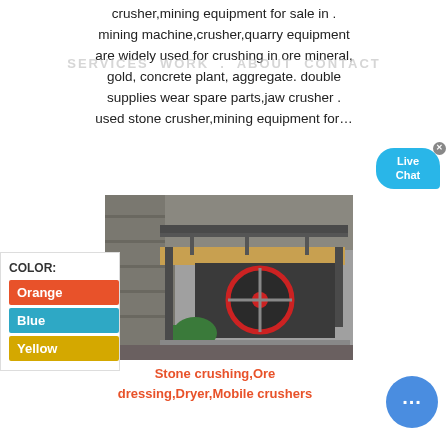crusher,mining equipment for sale in . mining machine,crusher,quarry equipment are widely used for crushing in ore mineral, gold, concrete plant, aggregate. double supplies wear spare parts,jaw crusher . used stone crusher,mining equipment for...
SERVICES  WORK  .  ABOUT  CONTACT
[Figure (photo): Photo of a large jaw crusher / stone crushing machine installed outdoors at a quarry site, with metal framework, red flywheel, and stone wall background.]
| COLOR: |
| --- |
| Orange |
| Blue |
| Yellow |
Stone crushing,Ore dressing,Dryer,Mobile crushers
[Figure (infographic): Live Chat button bubble in cyan/blue color with close (x) button, and a circular chat support button in blue at bottom right.]